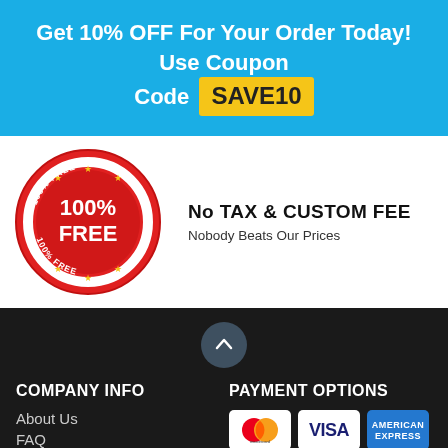Get 10% OFF For Your Order Today! Use Coupon Code SAVE10
[Figure (illustration): Round red badge/seal with text '100% FREE' in large white bold letters in the center, with '100% FREE' text also appearing on an outer ring at top and bottom, and gold stars decorating the badge]
No TAX & CUSTOM FEE
Nobody Beats Our Prices
[Figure (other): Dark circular button with upward arrow for scrolling to top]
COMPANY INFO
PAYMENT OPTIONS
About Us
FAQ
[Figure (other): Mastercard logo on white card background]
[Figure (other): Visa logo on white card background]
[Figure (other): American Express logo on blue card background]